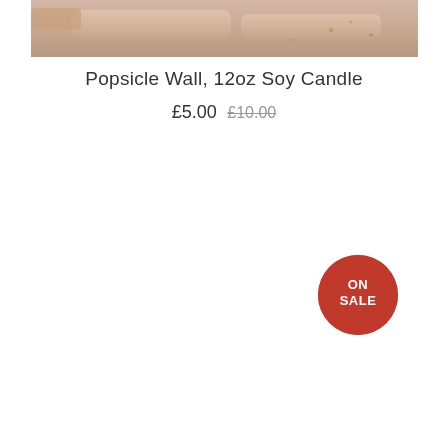[Figure (photo): Product photo of Popsicle Wall 12oz Soy Candle showing wooden/beige colored candle or packaging on a textured surface]
Popsicle Wall, 12oz Soy Candle
£5.00 £10.00
[Figure (other): Red circular badge with white text reading ON SALE]